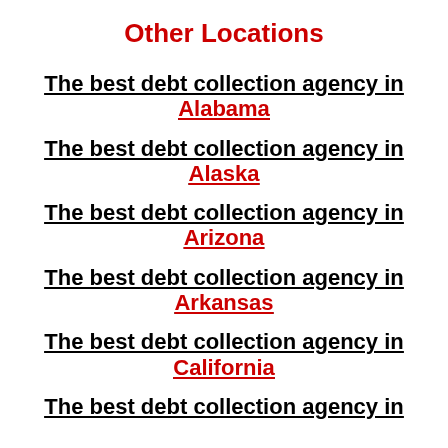Other Locations
The best debt collection agency in Alabama
The best debt collection agency in Alaska
The best debt collection agency in Arizona
The best debt collection agency in Arkansas
The best debt collection agency in California
The best debt collection agency in